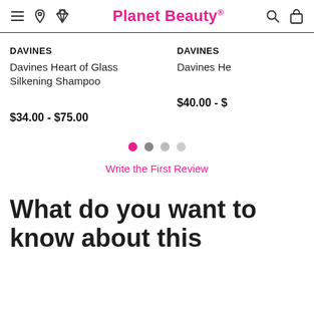Planet Beauty
DAVINES
Davines Heart of Glass Silkening Shampoo
$34.00 - $75.00
DAVINES
Davines He
$40.00 - $
Write the First Review
What do you want to know about this